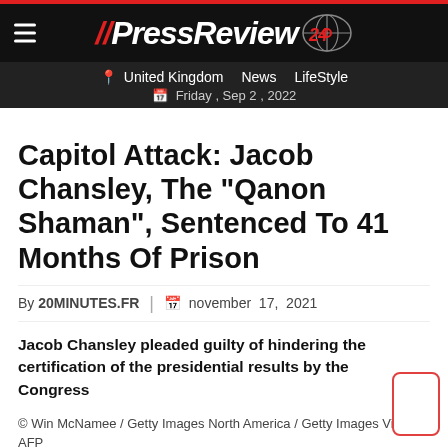PressReview24
United Kingdom   News   LifeStyle   Friday , Sep 2 , 2022
Capitol Attack: Jacob Chansley, The "Qanon Shaman", Sentenced To 41 Months Of Prison
By 20MINUTES.FR   |   november 17, 2021
Jacob Chansley pleaded guilty of hindering the certification of the presidential results by the Congress
© Win McNamee / Getty Images North America / Getty Images Via AFP
Jacob Chansley, the "Qanon Shaman", was sentenced to 41 months in prison for his role in the Capitol attack.